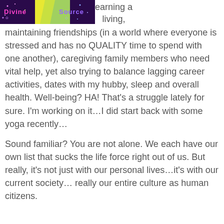[Figure (logo): Banner image with colorful design reading 'Divine Source' on a decorative background with stars and geometric shapes]
earning a living, maintaining friendships (in a world where everyone is stressed and has no QUALITY time to spend with one another), caregiving family members who need vital help, yet also trying to balance lagging career activities, dates with my hubby, sleep and overall health. Well-being? HA! That's a struggle lately for sure. I'm working on it…I did start back with some yoga recently…
Sound familiar? You are not alone. We each have our own list that sucks the life force right out of us. But really, it's not just with our personal lives…it's with our current society… really our entire culture as human citizens.